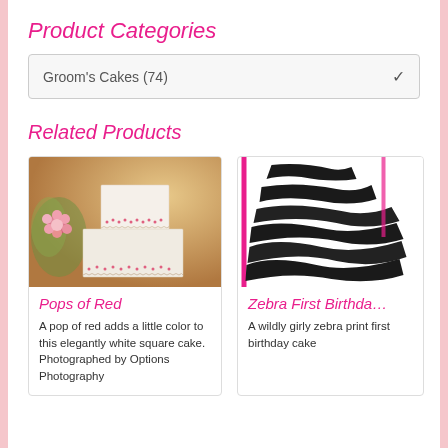Product Categories
Groom's Cakes (74)
Related Products
[Figure (photo): White square wedding cake with pink dot decorations and a pink flower in background]
Pops of Red
A pop of red adds a little color to this elegantly white square cake. Photographed by Options Photography
[Figure (photo): Zebra print first birthday cake with black and white pattern and pink stripe]
Zebra First Birthday
A wildly girly zebra print first birthday cake